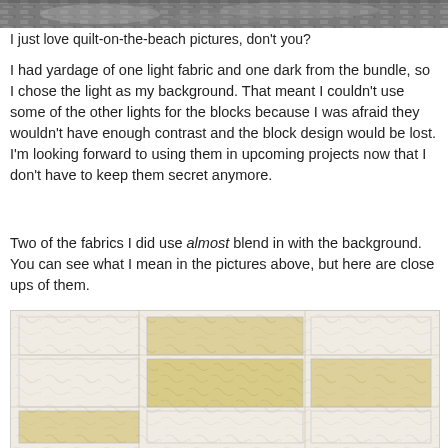[Figure (photo): Top portion of a grayscale photo of a quilt on a beach, cropped to a narrow strip at top of page]
I just love quilt-on-the-beach pictures, don't you?
I had yardage of one light fabric and one dark from the bundle, so I chose the light as my background. That meant I couldn't use some of the other lights for the blocks because I was afraid they wouldn't have enough contrast and the block design would be lost. I'm looking forward to using them in upcoming projects now that I don't have to keep them secret anymore.
Two of the fabrics I did use almost blend in with the background. You can see what I mean in the pictures above, but here are close ups of them.
[Figure (photo): Close-up photo of light-colored fabric quilt blocks in cream, white, and pale yellow batik fabrics arranged in a block pattern]